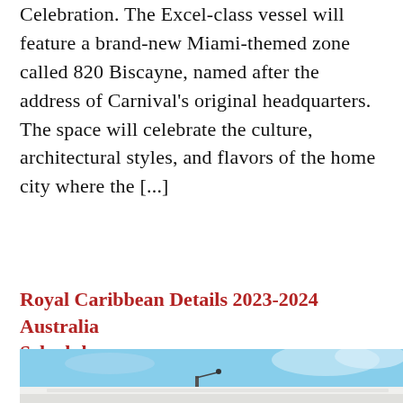Celebration. The Excel-class vessel will feature a brand-new Miami-themed zone called 820 Biscayne, named after the address of Carnival's original headquarters. The space will celebrate the culture, architectural styles, and flavors of the home city where the [...]
Royal Caribbean Details 2023-2024 Australia Schedule
[Figure (photo): Partial view of a cruise ship against a light blue sky, showing the upper deck and part of the funnel/mast structure. The lower portion shows a white hull of the ship.]